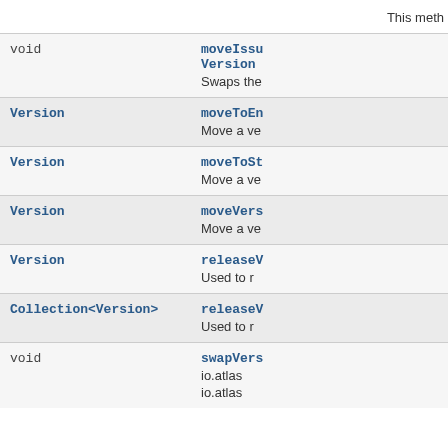| Type | Method/Description |
| --- | --- |
|  | This meth |
| void | moveIssu
Version
Swaps the |
| Version | moveToEn
Move a ve |
| Version | moveToSt
Move a ve |
| Version | moveVers
Move a ve |
| Version | releaseV
Used to r |
| Collection<Version> | releaseV
Used to r |
| void | swapVers
io.atlas
io.atlas |